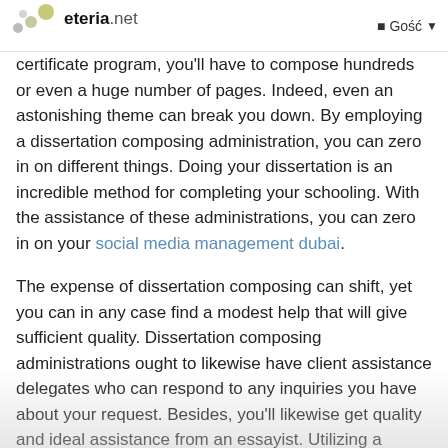eteria.net   Gość
certificate program, you'll have to compose hundreds or even a huge number of pages. Indeed, even an astonishing theme can break you down. By employing a dissertation composing administration, you can zero in on different things. Doing your dissertation is an incredible method for completing your schooling. With the assistance of these administrations, you can zero in on your social media management dubai.
The expense of dissertation composing can shift, yet you can in any case find a modest help that will give sufficient quality. Dissertation composing administrations ought to likewise have client assistance delegates who can respond to any inquiries you have about your request. Besides, you'll likewise get quality and ideal assistance from an essayist. Utilizing a dissertation